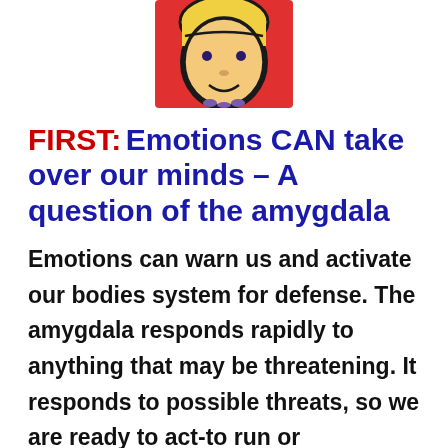[Figure (illustration): Hand-drawn illustration of a face/head with yellow hair against a red background, outlined in black, shown from roughly the nose up — appears to be a child's drawing.]
FIRST: Emotions CAN take over our minds – A question of the amygdala
Emotions can warn us and activate our bodies system for defense. The amygdala responds rapidly to anything that may be threatening. It responds to possible threats, so we are ready to act-to run or